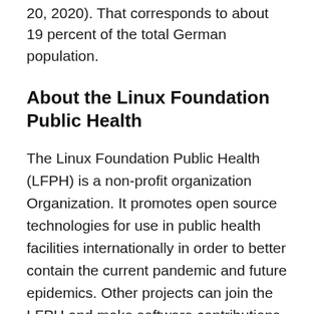20, 2020). That corresponds to about 19 percent of the total German population.
About the Linux Foundation Public Health
The Linux Foundation Public Health (LFPH) is a non-profit organization Organization. It promotes open source technologies for use in public health facilities internationally in order to better contain the current pandemic and future epidemics. Other projects can join the LFPH and make software contributions that health authorities can use to test, track and isolate (potentially) infected people to break infection chains more quickly in the future.